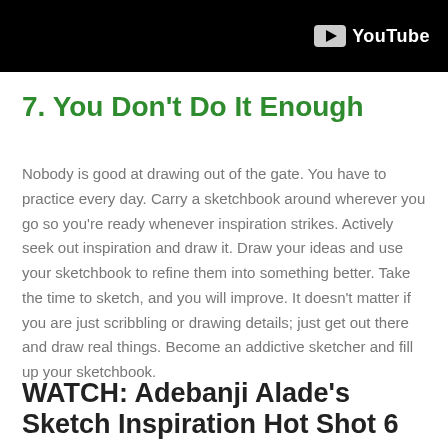[Figure (screenshot): Black banner with YouTube logo (play button icon and 'YouTube' text in white) in the top-right corner]
7. You Don't Do It Enough
Nobody is good at drawing out of the gate. You have to practice every day. Carry a sketchbook around wherever you go so you're ready whenever inspiration strikes. Actively seek out inspiration and draw it. Draw your ideas and use your sketchbook to refine them into something better. Take the time to sketch, and you will improve. It doesn't matter if you are just scribbling or drawing details; just get out there and draw real things. Become an addictive sketcher and fill up your sketchbook.
WATCH: Adebanji Alade's Sketch Inspiration Hot Shot 6